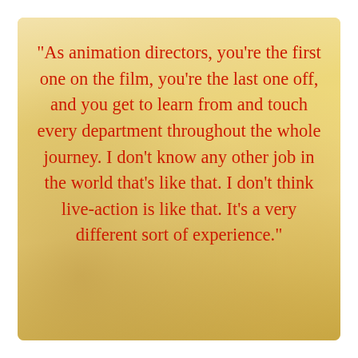"As animation directors, you're the first one on the film, you're the last one off, and you get to learn from and touch every department throughout the whole journey. I don't know any other job in the world that's like that. I don't think live-action is like that. It's a very different sort of experience."